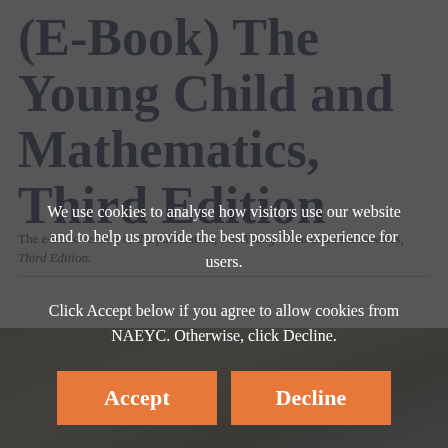(E-Book) The Young Child and Mathematics, Third Edition
The e-book version of the publication, The Young Child and Mathematics, Third Edition.
We use cookies to analyse how visitors use our website and to help us provide the best possible experience for users.

Click Accept below if you agree to allow cookies from NAEYC. Otherwise, click Decline.
[Figure (photo): Photo of a child with colorful objects, partially visible at bottom of page]